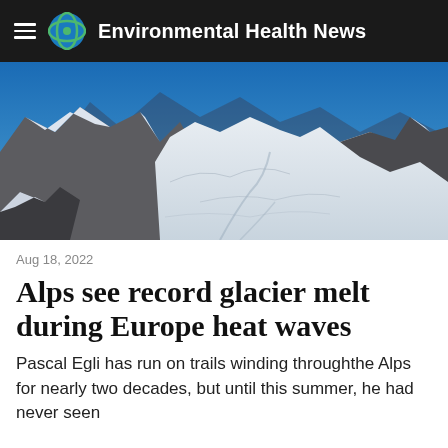Environmental Health News
[Figure (photo): Alpine glacier landscape with snow-covered mountain peaks against a deep blue sky, showing glaciers and rocky ridges in the Alps.]
Aug 18, 2022
Alps see record glacier melt during Europe heat waves
Pascal Egli has run on trails winding throughthe Alps for nearly two decades, but until this summer, he had never seen